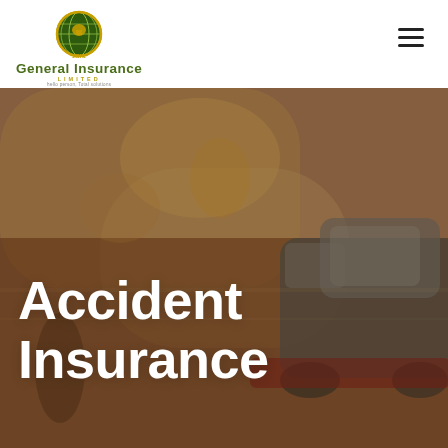[Figure (logo): ZSIC General Insurance Limited logo — globe icon above company name in dark green bold text with golden 'LIMITED' subtitle and small tagline]
[Figure (photo): Blurred street scene with cars and people, dark warm-toned overlay, serving as hero background image for Accident Insurance page]
Accident Insurance